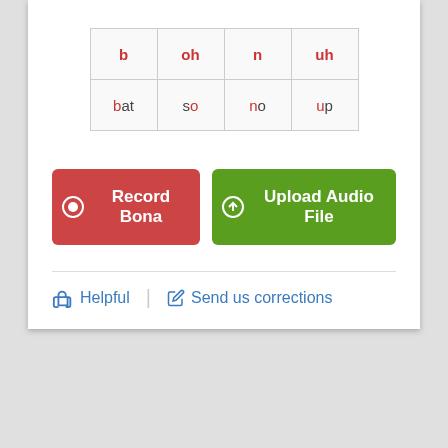| b | oh | n | uh |
| --- | --- | --- | --- |
| bat | so | no | up |
[Figure (other): Red button labeled 'Record Bona' with record icon]
[Figure (other): Green button labeled 'Upload Audio File' with upload icon]
👍 Helpful   ✏ Send us corrections